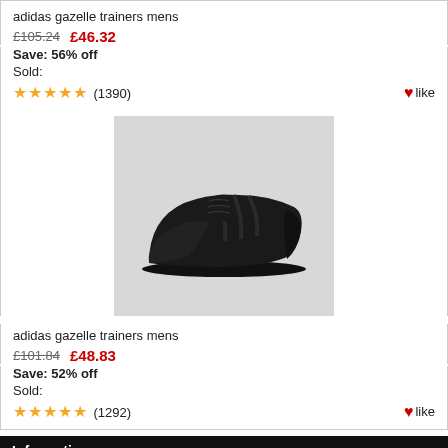adidas gazelle trainers mens
£105.24  £46.32
Save: 56% off
Sold:
★★★★★ (1390)  ♥like
[Figure (photo): Black Adidas Gazelle trainer shoe on grey background]
adidas gazelle trainers mens
£101.84  £48.83
Save: 52% off
Sold:
★★★★★ (1292)  ♥like
Information
Shipping & Returns